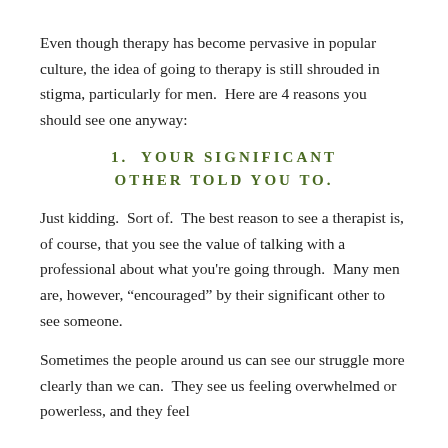Even though therapy has become pervasive in popular culture, the idea of going to therapy is still shrouded in stigma, particularly for men.  Here are 4 reasons you should see one anyway:
1. YOUR SIGNIFICANT OTHER TOLD YOU TO.
Just kidding.  Sort of.  The best reason to see a therapist is, of course, that you see the value of talking with a professional about what you're going through.  Many men are, however, “encouraged” by their significant other to see someone.
Sometimes the people around us can see our struggle more clearly than we can.  They see us feeling overwhelmed or powerless, and they feel